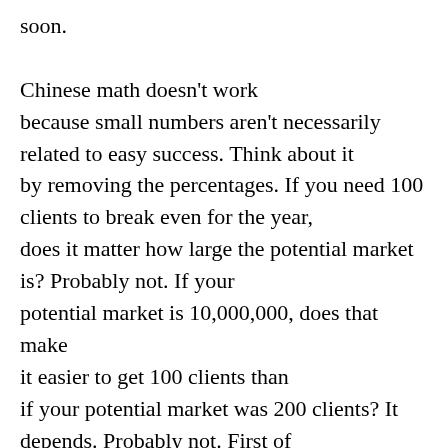soon.

Chinese math doesn't work because small numbers aren't necessarily related to easy success. Think about it by removing the percentages. If you need 100 clients to break even for the year, does it matter how large the potential market is? Probably not. If your potential market is 10,000,000, does that make it easier to get 100 clients than if your potential market was 200 clients? It depends. Probably not. First of all, you have to have something of value (which many startups don't) and you have to be able to convince even one person why they need it (which many startups can't) or your market size is irrelevant. You won't even get 1 client.